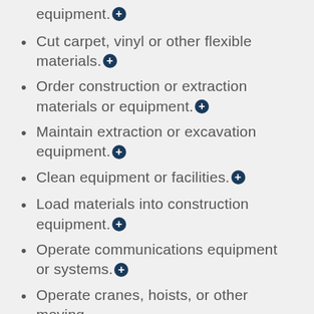equipment.+
Cut carpet, vinyl or other flexible materials.+
Order construction or extraction materials or equipment.+
Maintain extraction or excavation equipment.+
Clean equipment or facilities.+
Load materials into construction equipment.+
Operate communications equipment or systems.+
Operate cranes, hoists, or other moving